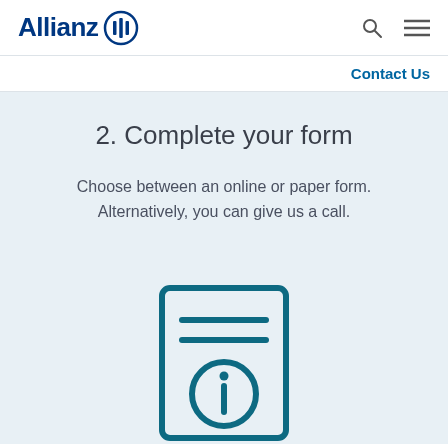Allianz
Contact Us
2. Complete your form
Choose between an online or paper form. Alternatively, you can give us a call.
[Figure (illustration): Document/form icon with two horizontal lines at top and an info circle symbol at bottom, rendered in dark teal/blue outline style]